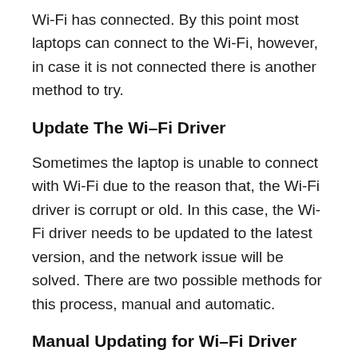Wi-Fi has connected. By this point most laptops can connect to the Wi-Fi, however, in case it is not connected there is another method to try.
Update The Wi–Fi Driver
Sometimes the laptop is unable to connect with Wi-Fi due to the reason that, the Wi-Fi driver is corrupt or old. In this case, the Wi-Fi driver needs to be updated to the latest version, and the network issue will be solved. There are two possible methods for this process, manual and automatic.
Manual Updating for Wi–Fi Driver